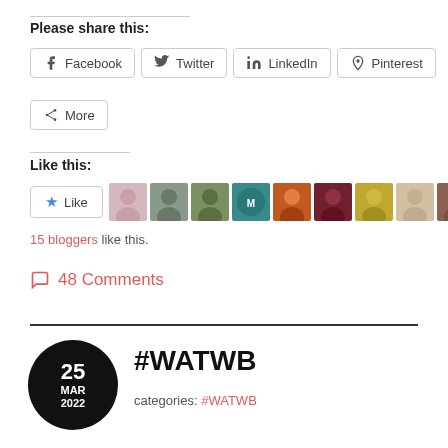Please share this:
Facebook
Twitter
LinkedIn
Pinterest
More
Like this:
[Figure (photo): Like button with star icon and 10 blogger avatar images]
15 bloggers like this.
48 Comments
#WATWB
categories: #WATWB